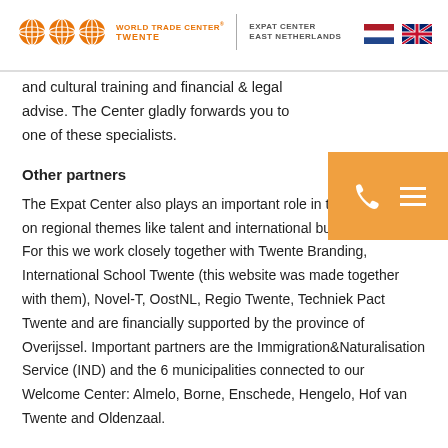WORLD TRADE CENTER TWENTE | EXPAT CENTER EAST NETHERLANDS
and cultural training and financial & legal advise. The Center gladly forwards you to one of these specialists.
Other partners
The Expat Center also plays an important role in the discussions on regional themes like talent and international business climate. For this we work closely together with Twente Branding, International School Twente (this website was made together with them), Novel-T, OostNL, Regio Twente, Techniek Pact Twente and are financially supported by the province of Overijssel. Important partners are the Immigration&Naturalisation Service (IND) and the 6 municipalities connected to our Welcome Center: Almelo, Borne, Enschede, Hengelo, Hof van Twente and Oldenzaal.